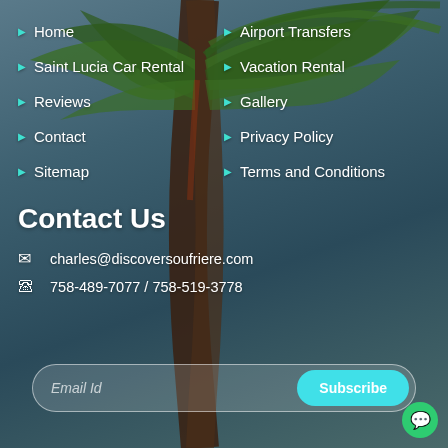Home
Airport Transfers
Saint Lucia Car Rental
Vacation Rental
Reviews
Gallery
Contact
Privacy Policy
Sitemap
Terms and Conditions
Contact Us
charles@discoversoufriere.com
758-489-7077 / 758-519-3778
Email Id